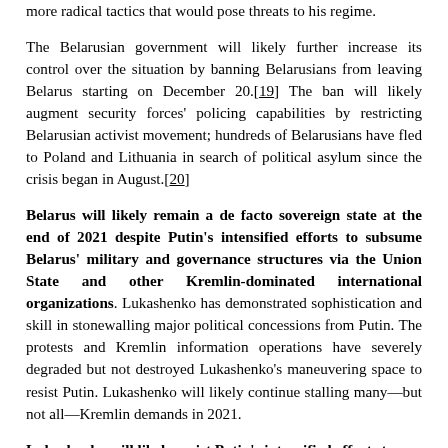more radical tactics that would pose threats to his regime.
The Belarusian government will likely further increase its control over the situation by banning Belarusians from leaving Belarus starting on December 20.[19] The ban will likely augment security forces' policing capabilities by restricting Belarusian activist movement; hundreds of Belarusians have fled to Poland and Lithuania in search of political asylum since the crisis began in August.[20]
Belarus will likely remain a de facto sovereign state at the end of 2021 despite Putin's intensified efforts to subsume Belarus' military and governance structures via the Union State and other Kremlin-dominated international organizations. Lukashenko has demonstrated sophistication and skill in stonewalling major political concessions from Putin. The protests and Kremlin information operations have severely degraded but not destroyed Lukashenko's maneuvering space to resist Putin. Lukashenko will likely continue stalling many—but not all—Kremlin demands in 2021.
Lukashenko will likely resist Putin's intensified efforts to